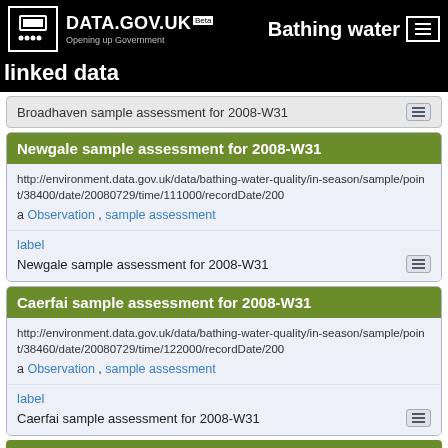DATA.GOV.UK Beta — Opening up Government — Bathing water linked data
Broadhaven sample assessment for 2008-W31
Newgale sample assessment for 2008-W31
http://environment.data.gov.uk/data/bathing-water-quality/in-season/sample/point/38400/date/20080729/time/111000/recordDate/200...
a Observation , sample assessment
label
Newgale sample assessment for 2008-W31
Caerfai sample assessment for 2008-W31
http://environment.data.gov.uk/data/bathing-water-quality/in-season/sample/point/38460/date/20080729/time/122000/recordDate/200...
a Observation , sample assessment
label
Caerfai sample assessment for 2008-W31
Whitesands sample assessment for 2008-W31